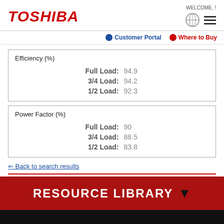[Figure (logo): Toshiba red italic logo]
WELCOME, !
Customer Portal   Where to Buy
| Efficiency (%) |
| --- |
| Full Load: | 94.9 |
| 3/4 Load: | 94.2 |
| 1/2 Load: | 92.3 |
| Power Factor (%) |
| --- |
| Full Load: | 90 |
| 3/4 Load: | 88.5 |
| 1/2 Load: | 83.8 |
⇐ Back to search results
RESOURCE LIBRARY